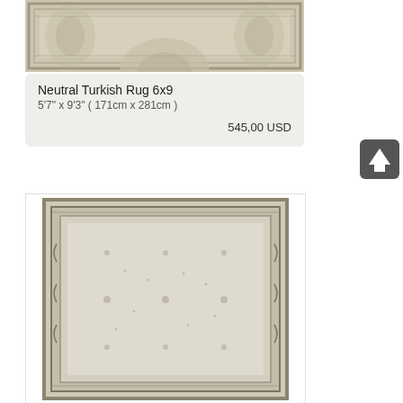[Figure (photo): Partial view of a neutral-toned Turkish rug with floral/medallion pattern, cropped at top]
Neutral Turkish Rug 6x9
5'7" x 9'3" ( 171cm x 281cm )
545,00 USD
[Figure (photo): Full view of a second neutral/cream Turkish rug with geometric border pattern and minimal central field design]
[Figure (other): Dark gray rounded square button with white upward-pointing arrow icon]